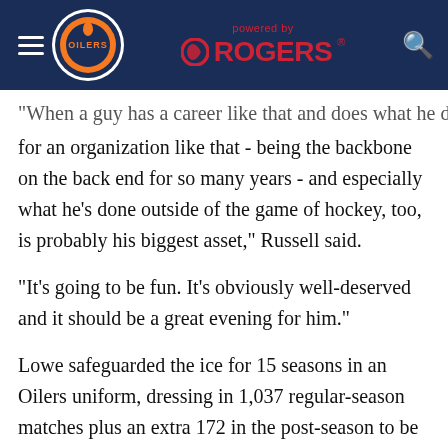Edmonton Oilers — powered by ROGERS
"When a guy has a career like that and does what he did for an organization like that - being the backbone on the back end for so many years - and especially what he's done outside of the game of hockey, too, is probably his biggest asset," Russell said.
"It's going to be fun. It's obviously well-deserved and it should be a great evening for him."
Lowe safeguarded the ice for 15 seasons in an Oilers uniform, dressing in 1,037 regular-season matches plus an extra 172 in the post-season to be the franchise's all-time leader in both categories. He was Edmonton's first-ever National Hockey League draft pick - selected 21st